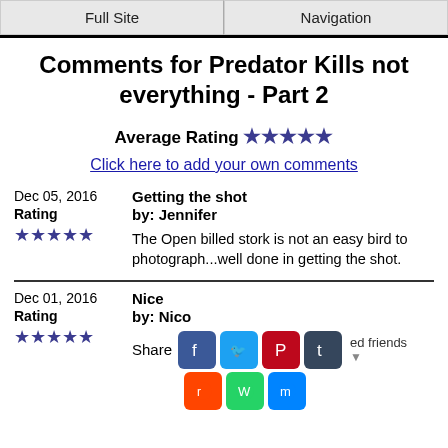Full Site | Navigation
Comments for Predator Kills not everything - Part 2
Average Rating ★★★★★
Click here to add your own comments
Dec 05, 2016
Rating ★★★★★
Getting the shot
by: Jennifer
The Open billed stork is not an easy bird to photograph...well done in getting the shot.
Dec 01, 2016
Rating ★★★★★
Nice
by: Nico
Share [social icons] ed friends